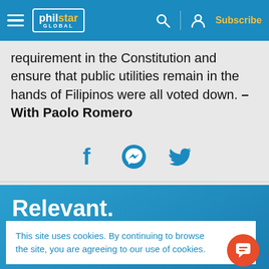Philstar Global — Subscribe
requirement in the Constitution and ensure that public utilities remain in the hands of Filipinos were all voted down. – With Paolo Romero
[Figure (infographic): Social share icons: Facebook, Messenger, Twitter]
[Figure (infographic): Philstar promo card: Relevant. Witty. Daily — Morning news briefings]
This site uses cookies. By continuing to browse the site, you are agreeing to our use of cookies.